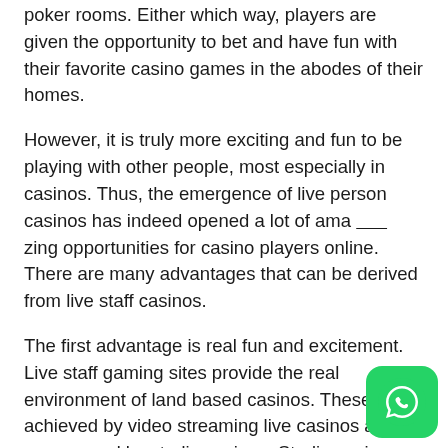poker rooms. Either which way, players are given the opportunity to bet and have fun with their favorite casino games in the abodes of their homes.
However, it is truly more exciting and fun to be playing with other people, most especially in casinos. Thus, the emergence of live person casinos has indeed opened a lot of ama___zing opportunities for casino players online. There are many advantages that can be derived from live staff casinos.
The first advantage is real fun and excitement. Live staff gaming sites provide the real environment of land based casinos. These are achieved by video streaming live casinos and games, and by studio casinos. Studio casinos are designed and decorated to look like real casinos. Moreover, all the essentials of real casinos are also incorporated in studio casinos.
Thus, with all these inclusions, players could not detect the